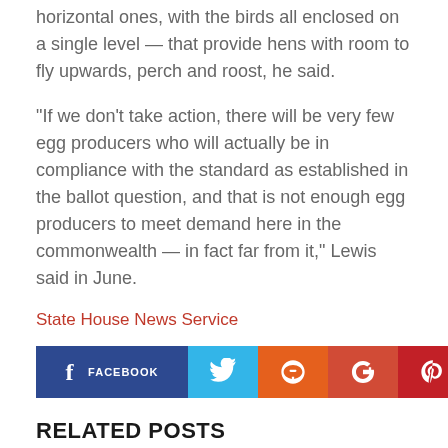Many egg producers now use vertical aviaries — instead of horizontal ones, with the birds all enclosed on a single level — that provide hens with room to fly upwards, perch and roost, he said.
“If we don’t take action, there will be very few egg producers who will actually be in compliance with the standard as established in the ballot question, and that is not enough egg producers to meet demand here in the commonwealth — in fact far from it,” Lewis said in June.
State House News Service
[Figure (infographic): Social media share buttons: Facebook, Twitter, StumbleUpon, Google+, Pinterest, Reddit, Email]
RELATED POSTS